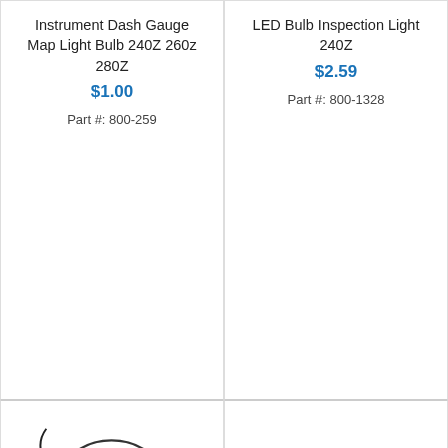Instrument Dash Gauge Map Light Bulb 240Z 260z 280Z
$1.00
Part #: 800-259
LED Bulb Inspection Light 240Z
$2.59
Part #: 800-1328
[Figure (photo): Headlight relay wiring harness coiled with connector box, with two thumbnail images below]
[Figure (photo): Map lamp light bezel black rectangular bracket, with three thumbnail images below]
Headlight Relay Wiring
Map Lamp Light Bezel